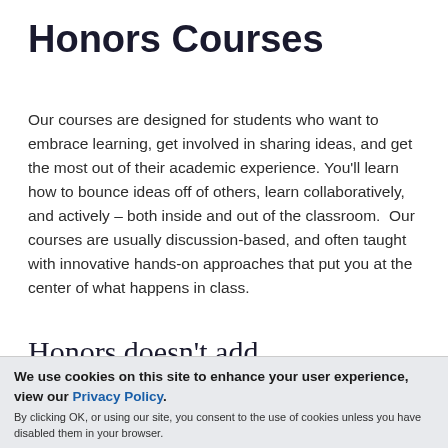Honors Courses
Our courses are designed for students who want to embrace learning, get involved in sharing ideas, and get the most out of their academic experience. You'll learn how to bounce ideas off of others, learn collaboratively, and actively – both inside and out of the classroom.  Our courses are usually discussion-based, and often taught with innovative hands-on approaches that put you at the center of what happens in class.
Honors doesn't add requirements or time to
We use cookies on this site to enhance your user experience, view our Privacy Policy.
By clicking OK, or using our site, you consent to the use of cookies unless you have disabled them in your browser.